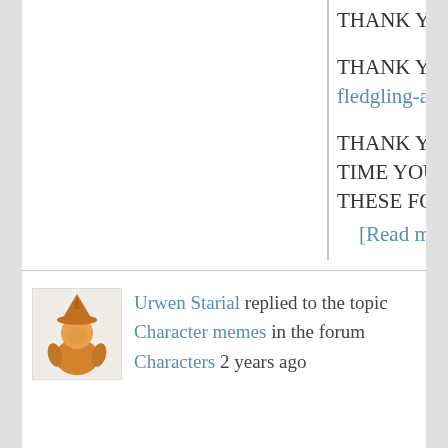THANK YOU!!!!

THANK YOU AND @the-fledgling-artist SO MUCH!!!!

THANK YOU FOR ALL THE TIME YOU GUYS SPENT ON THESE FOR...
    [Read more]
[Figure (illustration): Small avatar illustration of a character with an orange/brown hat and clothing, resembling a medieval or fantasy-style figure]
Urwen Starial replied to the topic Character memes in the forum Characters 2 years ago